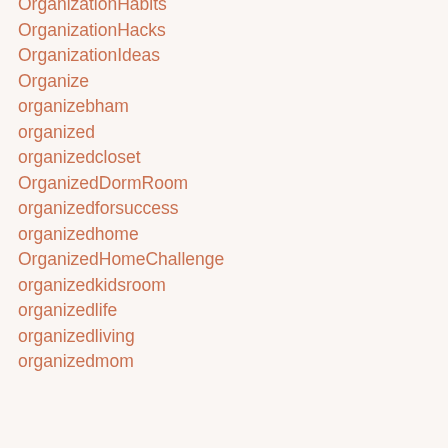OrganizationHabits
OrganizationHacks
OrganizationIdeas
Organize
organizebham
organized
organizedcloset
OrganizedDormRoom
organizedforsuccess
organizedhome
OrganizedHomeChallenge
organizedkidsroom
organizedlife
organizedliving
organizedmom